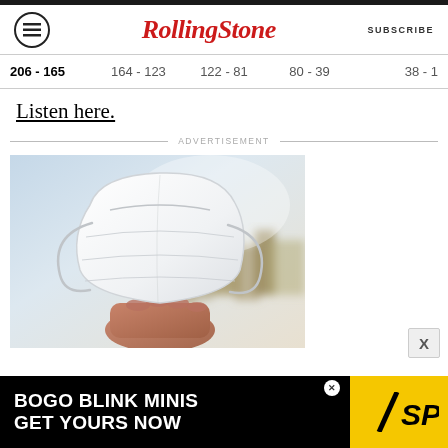Rolling Stone
206 - 165  164 - 123  122 - 81  80 - 39  38 - 1
Listen here.
ADVERTISEMENT
[Figure (photo): A hand holding a white KN95 face mask against a blurred outdoor background with blue sky and buildings.]
BOGO BLINK MINIS GET YOURS NOW